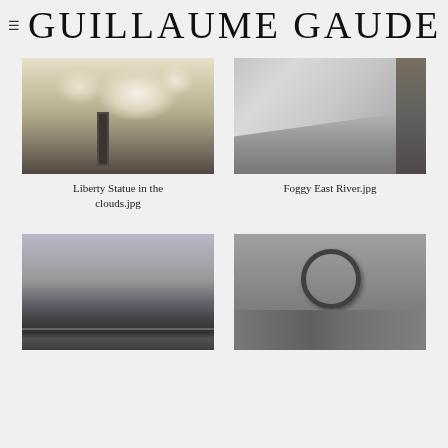GUILLAUME GAUDET
[Figure (photo): Black and white photo of the Statue of Liberty against cloudy sky]
Liberty Statue in the clouds.jpg
[Figure (photo): Black and white photo of the Foggy East River with bridge cables]
Foggy East River.jpg
[Figure (photo): Black and white photo of New York City skyline at dusk]
[Figure (photo): Black and white photo of the Atlas armillary sphere sculpture against buildings]